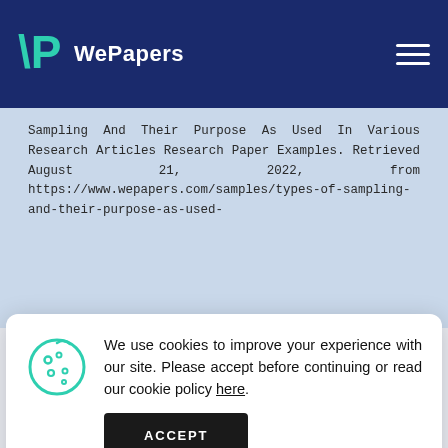WePapers
Sampling And Their Purpose As Used In Various Research Articles Research Paper Examples. Retrieved August 21, 2022, from https://www.wepapers.com/samples/types-of-sampling-and-their-purpose-as-used-
We use cookies to improve your experience with our site. Please accept before continuing or read our cookie policy here.
ACCEPT